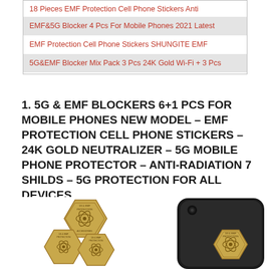18 Pieces EMF Protection Cell Phone Stickers Anti
EMF&5G Blocker 4 Pcs For Mobile Phones 2021 Latest
EMF Protection Cell Phone Stickers SHUNGITE EMF
5G&EMF Blocker Mix Pack 3 Pcs 24K Gold Wi-Fi + 3 Pcs
1. 5G & EMF BLOCKERS 6+1 PCS FOR MOBILE PHONES NEW MODEL – EMF PROTECTION CELL PHONE STICKERS – 24K GOLD NEUTRALIZER – 5G MOBILE PHONE PROTECTOR – ANTI-RADIATION 7 SHILDS – 5G PROTECTION FOR ALL DEVICES
[Figure (photo): Product photo showing gold hexagonal EMF protection stickers and a black phone case with a gold hexagonal sticker applied to it]